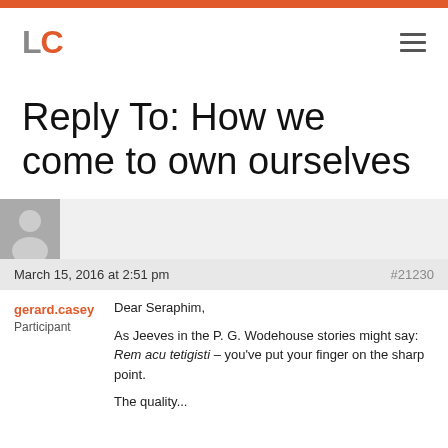LC (logo)
Reply To: How we come to own ourselves
March 15, 2016 at 2:51 pm  #21230
gerard.casey
Participant
Dear Seraphim,

As Jeeves in the P. G. Wodehouse stories might say: Rem acu tetigisti – you've put your finger on the sharp point.

The quality...